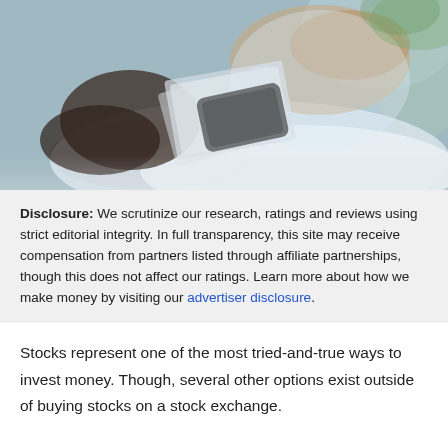[Figure (photo): A person in a white dress shirt holding and examining what appears to be cash/money or cards, sitting at a table, blurred background with greenery visible.]
Disclosure: We scrutinize our research, ratings and reviews using strict editorial integrity. In full transparency, this site may receive compensation from partners listed through affiliate partnerships, though this does not affect our ratings. Learn more about how we make money by visiting our advertiser disclosure.
Stocks represent one of the most tried-and-true ways to invest money. Though, several other options exist outside of buying stocks on a stock exchange.